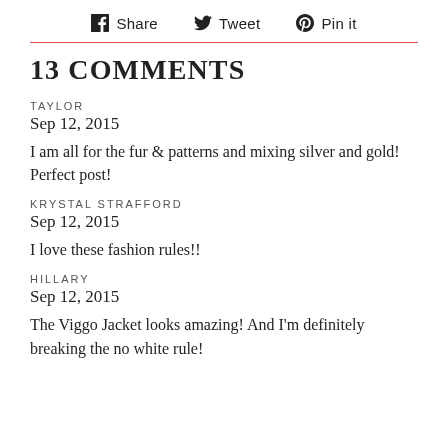f Share  Tweet  Pin it
13 COMMENTS
TAYLOR
Sep 12, 2015
I am all for the fur & patterns and mixing silver and gold! Perfect post!
KRYSTAL STRAFFORD
Sep 12, 2015
I love these fashion rules!!
HILLARY
Sep 12, 2015
The Viggo Jacket looks amazing! And I'm definitely breaking the no white rule!